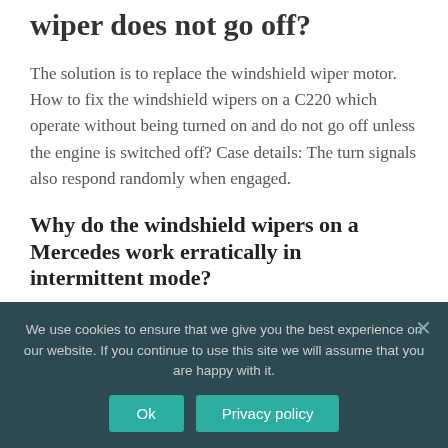wiper does not go off?
The solution is to replace the windshield wiper motor. How to fix the windshield wipers on a C220 which operate without being turned on and do not go off unless the engine is switched off? Case details: The turn signals also respond randomly when engaged.
Why do the windshield wipers on a Mercedes work erratically in intermittent mode?
We use cookies to ensure that we give you the best experience on our website. If you continue to use this site we will assume that you are happy with it.